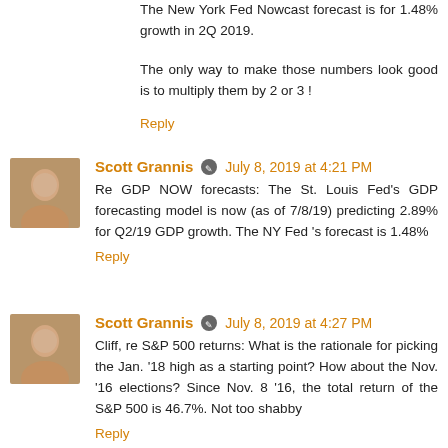The New York Fed Nowcast forecast is for 1.48% growth in 2Q 2019.
The only way to make those numbers look good is to multiply them by 2 or 3 !
Reply
Scott Grannis · July 8, 2019 at 4:21 PM
Re GDP NOW forecasts: The St. Louis Fed's GDP forecasting model is now (as of 7/8/19) predicting 2.89% for Q2/19 GDP growth. The NY Fed 's forecast is 1.48%
Reply
Scott Grannis · July 8, 2019 at 4:27 PM
Cliff, re S&P 500 returns: What is the rationale for picking the Jan. '18 high as a starting point? How about the Nov. '16 elections? Since Nov. 8 '16, the total return of the S&P 500 is 46.7%. Not too shabby
Reply